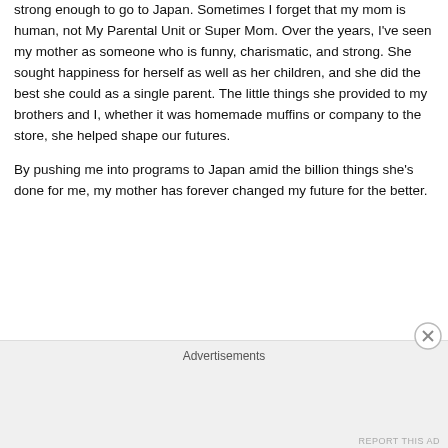strong enough to go to Japan. Sometimes I forget that my mom is human, not My Parental Unit or Super Mom. Over the years, I've seen my mother as someone who is funny, charismatic, and strong. She sought happiness for herself as well as her children, and she did the best she could as a single parent. The little things she provided to my brothers and I, whether it was homemade muffins or company to the store, she helped shape our futures.
By pushing me into programs to Japan amid the billion things she's done for me, my mother has forever changed my future for the better.
Share this:
Advertisements